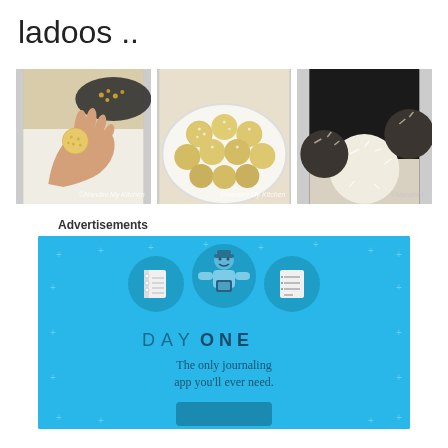ladoos ..
[Figure (photo): Hand holding a small round ladoo, with boondi/besan visible in background pan]
[Figure (photo): Plate of besan/coconut ladoos arranged on a white plate]
[Figure (photo): Close-up of coconut-coated ladoos with dark background]
Advertisements
[Figure (infographic): Day One app advertisement - blue background with illustration of person holding phone, notebook and list icons, text reads DAY ONE - The only journaling app you'll ever need.]